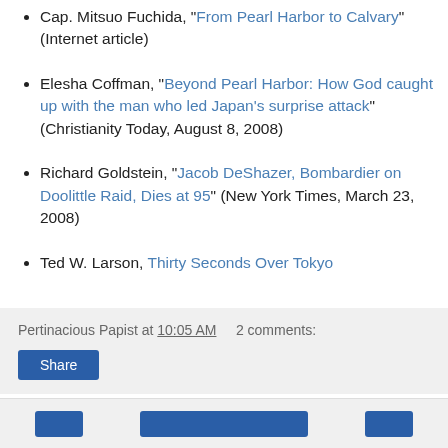Cap. Mitsuo Fuchida, "From Pearl Harbor to Calvary" (Internet article)
Elesha Coffman, "Beyond Pearl Harbor: How God caught up with the man who led Japan's surprise attack" (Christianity Today, August 8, 2008)
Richard Goldstein, "Jacob DeShazer, Bombardier on Doolittle Raid, Dies at 95" (New York Times, March 23, 2008)
Ted W. Larson, Thirty Seconds Over Tokyo
Pertinacious Papist at 10:05 AM   2 comments: